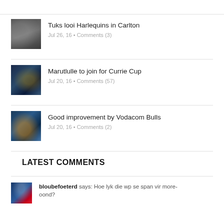[Figure (photo): Rugby scrum/tackle photo thumbnail]
Tuks looi Harlequins in Carlton
Jul 26, 16 • Comments (3)
[Figure (photo): Rugby action photo thumbnail]
Marutlulle to join for Currie Cup
Jul 20, 16 • Comments (57)
[Figure (photo): Rugby coach/sideline photo thumbnail]
Good improvement by Vodacom Bulls
Jul 20, 16 • Comments (2)
LATEST COMMENTS
[Figure (photo): Vodacom Bulls logo/comment thumbnail]
bloubefoeterd says: Hoe lyk die wp se span vir more-oond?